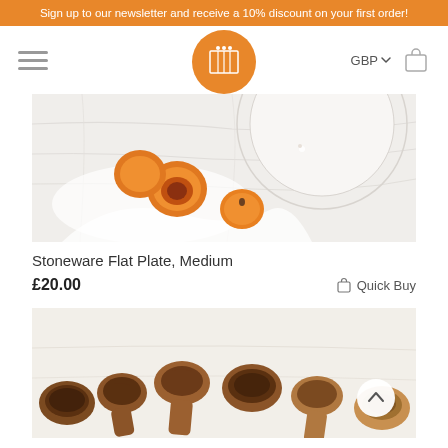Sign up to our newsletter and receive a 10% discount on your first order!
[Figure (screenshot): E-commerce website navigation bar with hamburger menu, orange circular logo with white icon, GBP currency selector and shopping bag icon]
[Figure (photo): Top-down photo of a white stoneware flat plate on a marble surface with apricots and white cloth]
Stoneware Flat Plate, Medium
£20.00
Quick Buy
[Figure (photo): Collection of wooden coconut shell spoons and bowls arranged on a light surface]